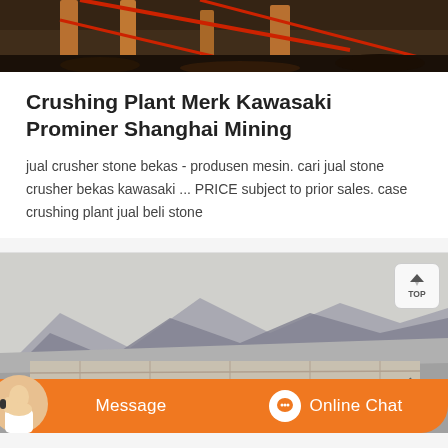[Figure (photo): Top strip showing construction/mining site with orange/red crane structures and wooden scaffolding against dark background]
Crushing Plant Merk Kawasaki Prominer Shanghai Mining
jual crusher stone bekas - produsen mesin. cari jual stone crusher bekas kawasaki ... PRICE subject to prior sales. case crushing plant jual beli stone
[Figure (photo): Mining site with mountainous terrain in background, conveyor belt structure visible, orange Message and Online Chat bar overlay at bottom]